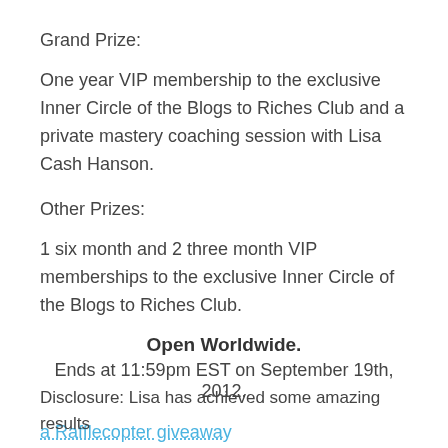Grand Prize:
One year VIP membership to the exclusive Inner Circle of the Blogs to Riches Club and a private mastery coaching session with Lisa Cash Hanson.
Other Prizes:
1 six month and 2 three month VIP memberships to the exclusive Inner Circle of the Blogs to Riches Club.
Open Worldwide.
Ends at 11:59pm EST on September 19th, 2012.
a Rafflecopter giveaway
Disclosure: Lisa has achieved some amazing results